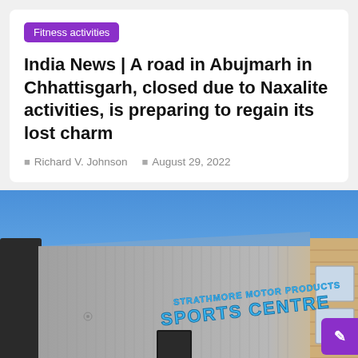Fitness activities
India News | A road in Abujmarh in Chhattisgarh, closed due to Naxalite activities, is preparing to regain its lost charm
Richard V. Johnson   August 29, 2022
[Figure (photo): Exterior of a sports centre building with blue signage reading 'Strathmore Motor Products Sports Centre' against a clear blue sky. The building is grey/concrete with brick visible on the right side and two windows.]